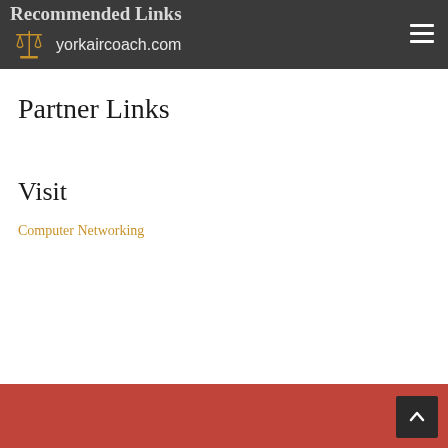Recommended Links — yorkaircoach.com
Partner Links
Visit
Computer Networking